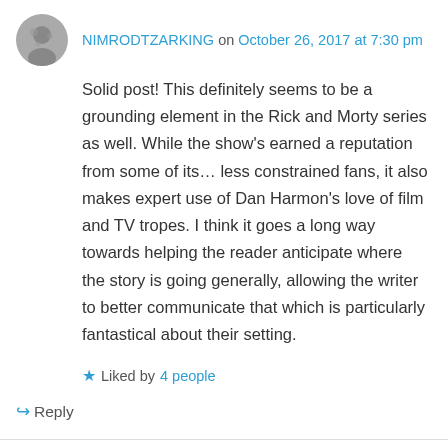NIMRODTZARKING on October 26, 2017 at 7:30 pm
Solid post! This definitely seems to be a grounding element in the Rick and Morty series as well. While the show's earned a reputation from some of its… less constrained fans, it also makes expert use of Dan Harmon's love of film and TV tropes. I think it goes a long way towards helping the reader anticipate where the story is going generally, allowing the writer to better communicate that which is particularly fantastical about their setting.
★ Liked by 4 people
↳ Reply